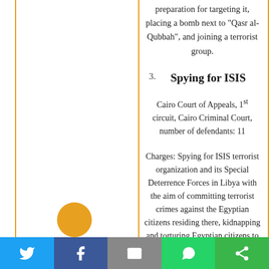preparation for targeting it, placing a bomb next to “Qasr al-Qubbah”, and joining a terrorist group.
3. Spying for ISIS
Cairo Court of Appeals, 1st circuit, Cairo Criminal Court, number of defendants: 11
Charges: Spying for ISIS terrorist organization and its Special Deterrence Forces in Libya with the aim of committing terrorist crimes against the Egyptian citizens residing there, kidnapping and torturing Egyptian citizens to obtain ransom money for